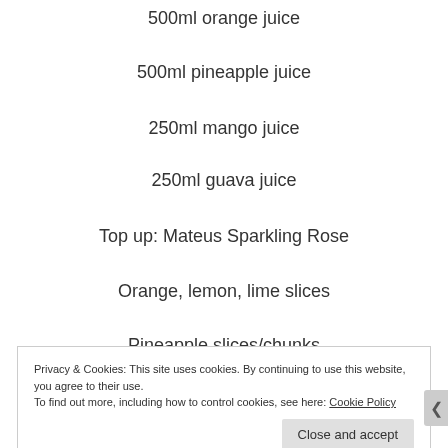500ml orange juice
500ml pineapple juice
250ml mango juice
250ml guava juice
Top up: Mateus Sparkling Rose
Orange, lemon, lime slices
Pineapple slices/chunks
Privacy & Cookies: This site uses cookies. By continuing to use this website, you agree to their use. To find out more, including how to control cookies, see here: Cookie Policy
Close and accept